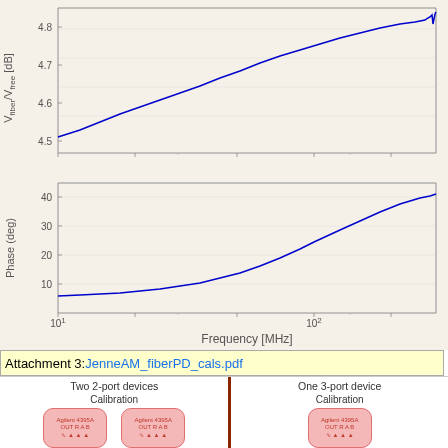[Figure (continuous-plot): Top chart: amplitude ratio V_fiber/V_free [dB] vs Frequency [MHz] on log-x scale (10^1 to ~300 MHz). Blue curve rising from ~4.47 at 10 MHz to ~4.85 at high freq with a spike near end. Y-axis range 4.5 to 4.8.]
[Figure (continuous-plot): Bottom chart: Phase (deg) vs Frequency [MHz] on log-x scale (10^1 to 10^2). Blue curve rising from ~6 deg at 10 MHz to ~43 deg at high freq. Y-axis: 10 to 40.]
Attachment 3: JenneAM_fiberPD_cals.pdf
[Figure (schematic): Schematic showing Two 2-port devices (Calibration, two Agilent 4395A boxes) on left separated by dark red vertical line from One 3-port device (Calibration, one Agilent 4395A box) on right.]